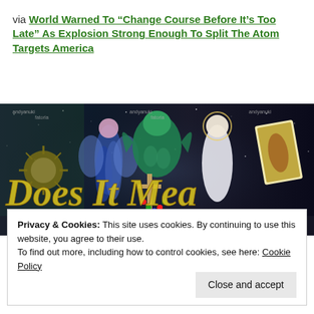via World Warned To “Change Course Before It’s Too Late” As Explosion Strong Enough To Split The Atom Targets America
[Figure (photo): Colorful fantasy/religious banner image with text 'Does It Mean' in gothic gold letters, featuring angels, dragons, a robed figure, a crucifix, and tarot cards on a dark starry background.]
Privacy & Cookies: This site uses cookies. By continuing to use this website, you agree to their use.
To find out more, including how to control cookies, see here: Cookie Policy
Close and accept
RETAKING AMERICAN